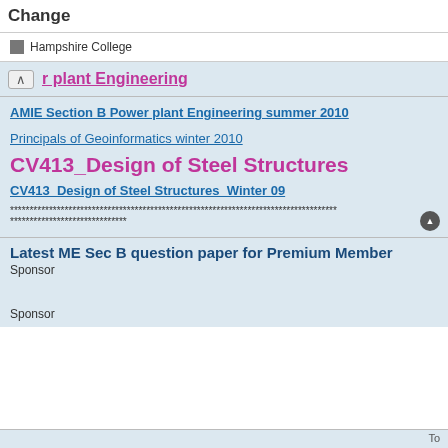Change
Hampshire College
r plant Engineering
AMIE Section B Power plant Engineering summer 2010
Principals of Geoinformatics winter 2010
CV413_Design of Steel Structures
CV413_Design of Steel Structures_Winter 09
************************************************************************************
******************************
Latest ME Sec B question paper for Premium Member
Sponsor
Sponsor
To